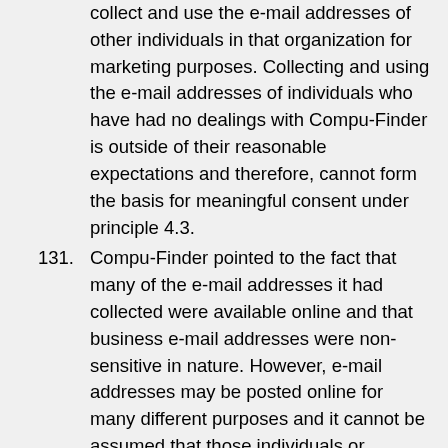collect and use the e-mail addresses of other individuals in that organization for marketing purposes. Collecting and using the e-mail addresses of individuals who have had no dealings with Compu-Finder is outside of their reasonable expectations and therefore, cannot form the basis for meaningful consent under principle 4.3.
131. Compu-Finder pointed to the fact that many of the e-mail addresses it had collected were available online and that business e-mail addresses were non-sensitive in nature. However, e-mail addresses may be posted online for many different purposes and it cannot be assumed that those individuals or organizations posting addresses would reasonably expect to receive commercial offers.
132. By way of example, individuals may solicit feedback from people interested in the subject of a blog they have written, a community group may wish to facilitate contact amongst its members to organize events, and charitable organizations may do so to